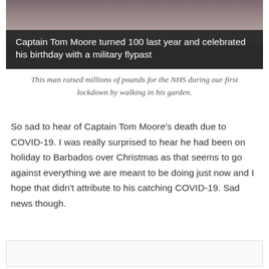[Figure (photo): Photo of Captain Tom Moore at the top of the page, partially visible]
Captain Tom Moore turned 100 last year and celebrated his birthday with a military flypast
This man raised millions of pounds for the NHS during our first lockdown by walking in his garden.
So sad to hear of Captain Tom Moore’s death due to COVID-19. I was really surprised to hear he had been on holiday to Barbados over Christmas as that seems to go against everything we are meant to be doing just now and I hope that didn’t attribute to his catching COVID-19. Sad news though.